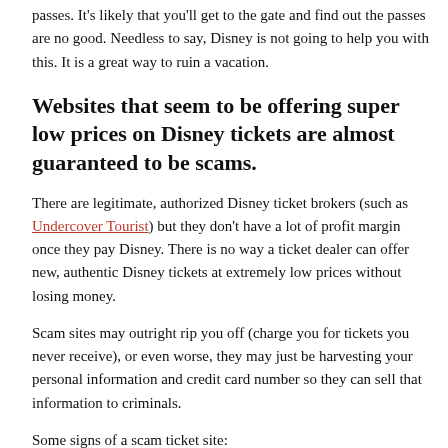passes. It's likely that you'll get to the gate and find out the passes are no good. Needless to say, Disney is not going to help you with this. It is a great way to ruin a vacation.
Websites that seem to be offering super low prices on Disney tickets are almost guaranteed to be scams.
There are legitimate, authorized Disney ticket brokers (such as Undercover Tourist) but they don't have a lot of profit margin once they pay Disney. There is no way a ticket dealer can offer new, authentic Disney tickets at extremely low prices without losing money.
Scam sites may outright rip you off (charge you for tickets you never receive), or even worse, they may just be harvesting your personal information and credit card number so they can sell that information to criminals.
Some signs of a scam ticket site:
Disney does not allow its authorized ticket dealers to use the word Disney in their URLs (domain names or website